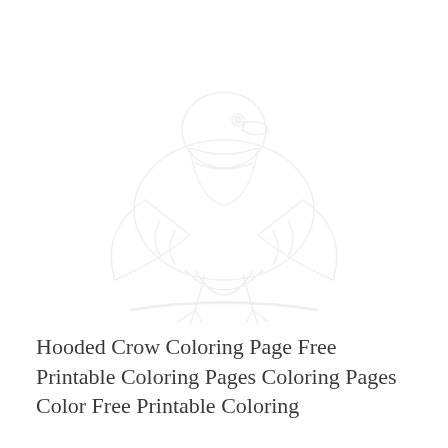[Figure (illustration): Faint watermark-style illustration of a hooded crow coloring page outline, very light gray, occupying the upper portion of the page]
Hooded Crow Coloring Page Free Printable Coloring Pages Coloring Pages Color Free Printable Coloring